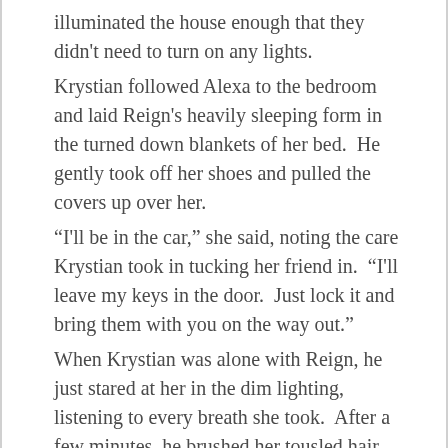illuminated the house enough that they didn't need to turn on any lights.
Krystian followed Alexa to the bedroom and laid Reign's heavily sleeping form in the turned down blankets of her bed.  He gently took off her shoes and pulled the covers up over her.
“I'll be in the car,” she said, noting the care Krystian took in tucking her friend in.  “I'll leave my keys in the door.  Just lock it and bring them with you on the way out.”
When Krystian was alone with Reign, he just stared at her in the dim lighting, listening to every breath she took.  After a few minutes, he brushed her tousled hair aside and kissed her forehead.
“You are so special, and I was so wrong about who I thought you were,” he whispered as he got up, then walked toward the bedroom door.